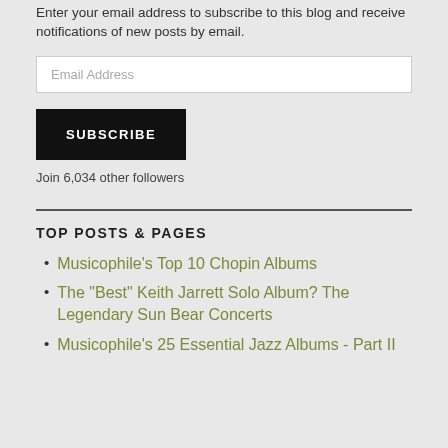Enter your email address to subscribe to this blog and receive notifications of new posts by email.
Email Address
SUBSCRIBE
Join 6,034 other followers
TOP POSTS & PAGES
Musicophile's Top 10 Chopin Albums
The "Best" Keith Jarrett Solo Album? The Legendary Sun Bear Concerts
Musicophile's 25 Essential Jazz Albums - Part II